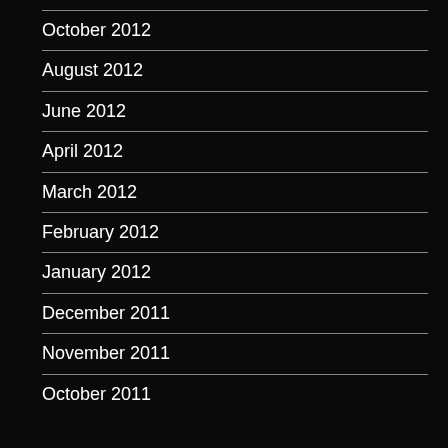October 2012
August 2012
June 2012
April 2012
March 2012
February 2012
January 2012
December 2011
November 2011
October 2011